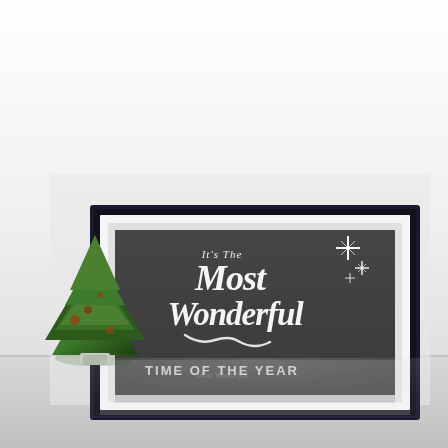[Figure (photo): A framed chalkboard-style art print with white hand-lettered script text reading 'It's The Most Wonderful Time of the Year' with decorative stars, displayed in a black frame with white mat, leaning against a white wall on a reflective surface. A small green Christmas tree with pine cones is visible at the left side of the frame.]